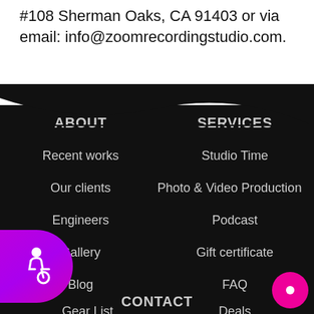#108 Sherman Oaks, CA 91403 or via email: info@zoomrecordingstudio.com.
ABOUT
SERVICES
Recent works
Studio Time
Our clients
Photo & Video Production
Engineers
Podcast
Gallery
Gift certificate
Blog
FAQ
Gear List
Deals
CONTACT